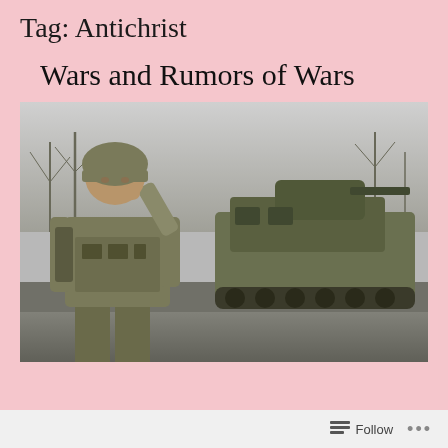Tag: Antichrist
Wars and Rumors of Wars
[Figure (photo): A soldier in camouflage gear and helmet smoking a cigarette, with a military armored vehicle (APC) in the background. Winter scene with bare trees. Appears to be a conflict zone.]
Follow